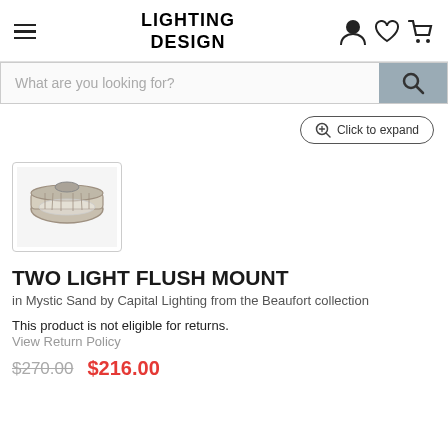LIGHTING DESIGN
What are you looking for?
[Figure (photo): Thumbnail image of a two light flush mount ceiling light fixture in Mystic Sand finish]
TWO LIGHT FLUSH MOUNT
in Mystic Sand by Capital Lighting from the Beaufort collection
This product is not eligible for returns.
View Return Policy
$270.00  $216.00